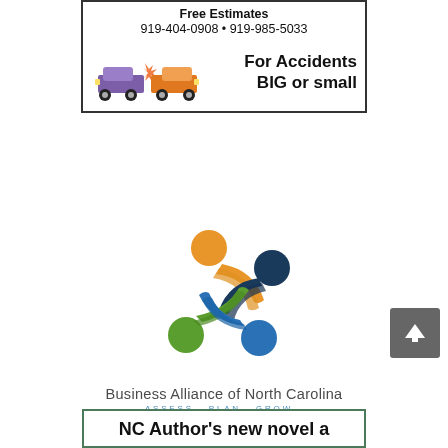[Figure (illustration): Auto body shop advertisement box with cars colliding, phone numbers, and text 'For Accidents BIG or small']
[Figure (logo): Business Alliance of North Carolina logo with four colorful human figures (orange, dark blue, green, blue) arranged in a pinwheel, with text 'Business Alliance of North Carolina' and tagline 'ASSESS. PLAN. GROW.']
[Figure (illustration): Scroll-to-top button, dark gray with white arrow pointing up]
[Figure (illustration): Partial view of advertisement box with green border and text 'NC Author's new novel a']